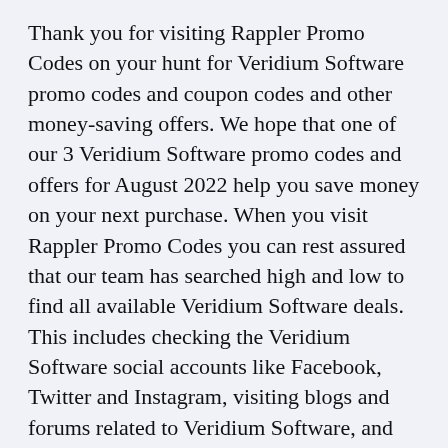Thank you for visiting Rappler Promo Codes on your hunt for Veridium Software promo codes and coupon codes and other money-saving offers. We hope that one of our 3 Veridium Software promo codes and offers for August 2022 help you save money on your next purchase. When you visit Rappler Promo Codes you can rest assured that our team has searched high and low to find all available Veridium Software deals. This includes checking the Veridium Software social accounts like Facebook, Twitter and Instagram, visiting blogs and forums related to Veridium Software, and even checking other top deal sites for the latest Veridium Software promo codes.
When shopping online for Veridium Software, it is a good idea to always visit us here at Rappler Promo Codes before you finish your order. The Rappler Promo Codes team save our visitors thousands of pesos every month, many of which never knew Veridium Software promo codes were available until visiting our site. Now that you know how easy it is to save at Veridium Software with